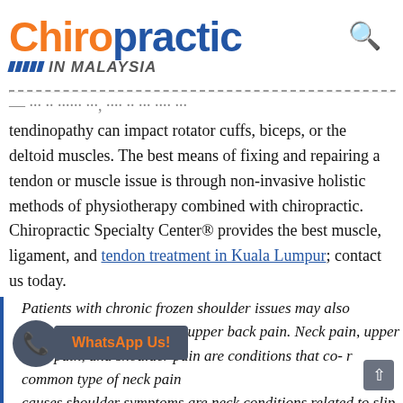Chiropractic IN MALAYSIA
tendinopathy can impact rotator cuffs, biceps, or the deltoid muscles. The best means of fixing and repairing a tendon or muscle issue is through non-invasive holistic methods of physiotherapy combined with chiropractic. Chiropractic Specialty Center® provides the best muscle, ligament, and tendon treatment in Kuala Lumpur; contact us today.
Patients with chronic frozen shoulder issues may also complain of neck pain and upper back pain. Neck pain, upper back pain, and shoulder pain are conditions that co- r common type of neck pain causes shoulder symptoms are neck conditions related to slip disc. Slipped discs such as bulging,